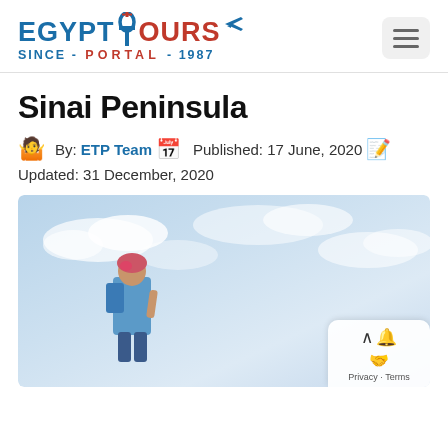[Figure (logo): Egypt Tours Portal logo with ankh symbol, text EGYPT TOURS SINCE PORTAL 1987 in blue and red]
Sinai Peninsula
By: ETP Team  Published: 17 June, 2020  Updated: 31 December, 2020
[Figure (photo): Person with backpack standing against a blue sky with clouds, looking at the view]